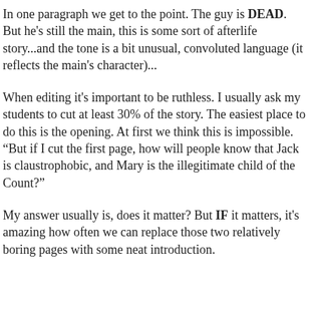In one paragraph we get to the point. The guy is DEAD. But he's still the main, this is some sort of afterlife story...and the tone is a bit unusual, convoluted language (it reflects the main's character)...
When editing it's important to be ruthless. I usually ask my students to cut at least 30% of the story. The easiest place to do this is the opening. At first we think this is impossible. "But if I cut the first page, how will people know that Jack is claustrophobic, and Mary is the illegitimate child of the Count?"
My answer usually is, does it matter? But IF it matters, it's amazing how often we can replace those two relatively boring pages with some neat introduction.